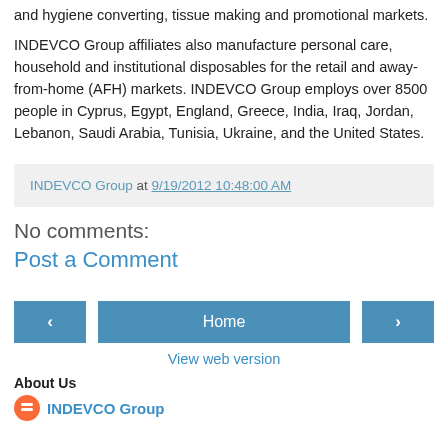and hygiene converting, tissue making and promotional markets.
INDEVCO Group affiliates also manufacture personal care, household and institutional disposables for the retail and away-from-home (AFH) markets. INDEVCO Group employs over 8500 people in Cyprus, Egypt, England, Greece, India, Iraq, Jordan, Lebanon, Saudi Arabia, Tunisia, Ukraine, and the United States.
INDEVCO Group at 9/19/2012 10:48:00 AM
No comments:
Post a Comment
Home
View web version
About Us
INDEVCO Group